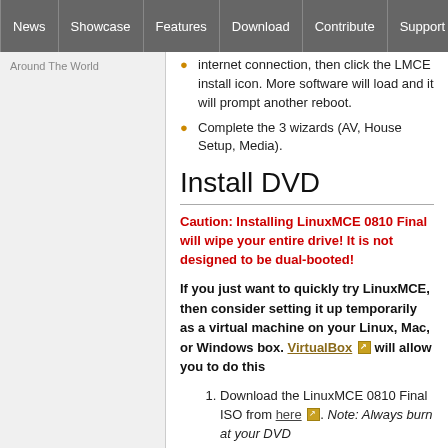News | Showcase | Features | Download | Contribute | Support
Around The World
internet connection, then click the LMCE install icon. More software will load and it will prompt another reboot.
Complete the 3 wizards (AV, House Setup, Media).
Install DVD
Caution: Installing LinuxMCE 0810 Final will wipe your entire drive! It is not designed to be dual-booted!
If you just want to quickly try LinuxMCE, then consider setting it up temporarily as a virtual machine on your Linux, Mac, or Windows box. VirtualBox will allow you to do this
Download the LinuxMCE 0810 Final ISO from here. Note: Always burn at your DVD